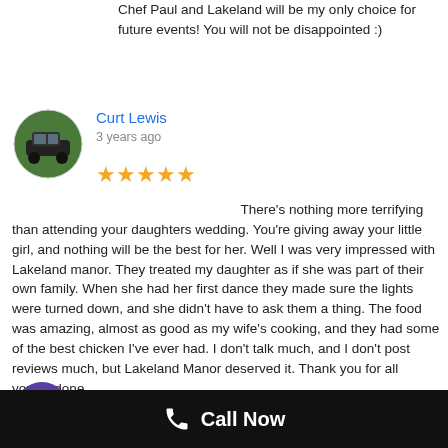Chef Paul and Lakeland will be my only choice for future events! You will not be disappointed :)
Curt Lewis
3 years ago
★★★★★ There's nothing more terrifying than attending your daughters wedding. You're giving away your little girl, and nothing will be the best for her. Well I was very impressed with Lakeland manor. They treated my daughter as if she was part of their own family. When she had her first dance they made sure the lights were turned down, and she didn't have to ask them a thing. The food was amazing, almost as good as my wife's cooking, and they had some of the best chicken I've ever had. I don't talk much, and I don't post reviews much, but Lakeland Manor deserved it. Thank you for all you've done.
Allen Keenly
Call Now